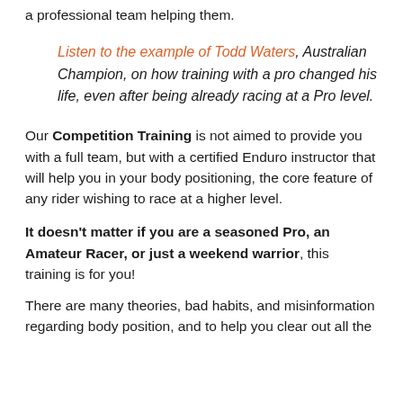a professional team helping them.
Listen to the example of Todd Waters, Australian Champion, on how training with a pro changed his life, even after being already racing at a Pro level.
Our Competition Training is not aimed to provide you with a full team, but with a certified Enduro instructor that will help you in your body positioning, the core feature of any rider wishing to race at a higher level.
It doesn't matter if you are a seasoned Pro, an Amateur Racer, or just a weekend warrior, this training is for you!
There are many theories, bad habits, and misinformation regarding body position, and to help you clear out all the